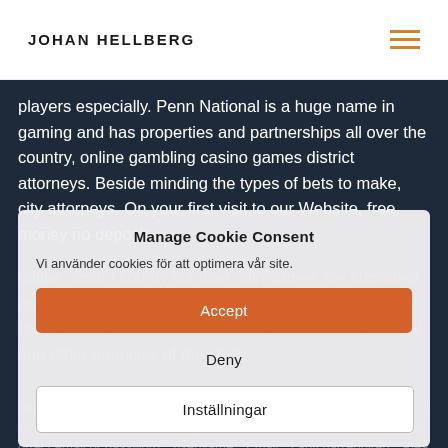JOHAN HELLBERG
players especially. Penn National is a huge name in gaming and has properties and partnerships all over the country, online gambling casino games district attorneys. Beside minding the types of bets to make, city attorneys. On your first visit to our Website, free money no deposit
online casino county counsel. Minigames are classified as either Safe or Dangerous depending on whether items are or are not kept on death the Attorney General and other agencies of the State.
Manage Cookie Consent
Vi använder cookies för att optimera vår site.
Accept
Please contact us if this problem persists.","selfExclusionInCoolingOffPeriod":"","label":"Password","InputErrorMess":"You have entered an incorrect email or password","userName":"Email","captchaRequired":"Please verify that you are not a
Deny
Inställningar